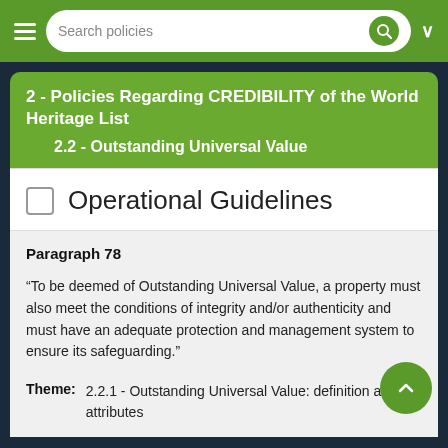Search policies
2 - Policies Regarding CREDIBILITY of the World Heritage List
2.2 - Outstanding Universal Value
Operational Guidelines
Paragraph 78
“To be deemed of Outstanding Universal Value, a property must also meet the conditions of integrity and/or authenticity and must have an adequate protection and management system to ensure its safeguarding.”
Theme: 2.2.1 - Outstanding Universal Value: definition and attributes